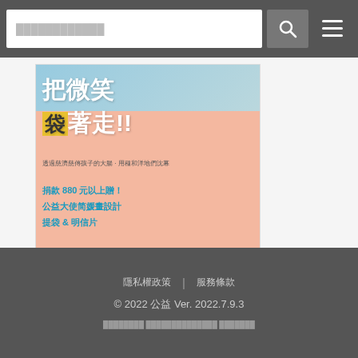Search bar with search icon and menu icon
[Figure (illustration): Promotional poster with Chinese text about donating 880 yuan or more to receive a charity ambassador illustrated tote bag and postcard. Pink/salmon background with bold white Chinese characters and cyan/blue decorative elements. Below the poster is a small icon/thumbnail.]
隱私權政策 | 服務條款 © 2022 公益 Ver. 2022.7.9.3 ████████ ██████████████ ███████